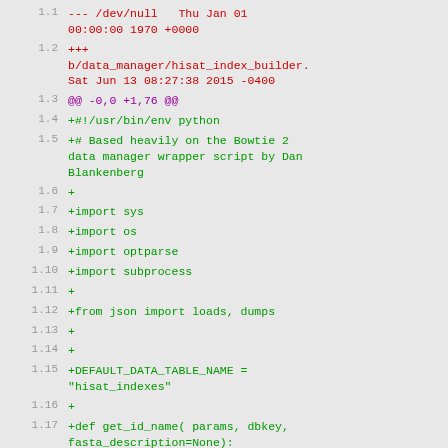diff --git view of hisat_index_builder changes with line numbers and colored diff output
1.1  --- /dev/null   Thu Jan 01 00:00:00 1970 +0000
1.2  +++ b/data_manager/hisat_index_builder. Sat Jun 13 08:27:38 2015 -0400
1.3  @@ -0,0 +1,76 @@
1.4  +#!/usr/bin/env python
1.5  +# Based heavily on the Bowtie 2 data manager wrapper script by Dan Blankenberg
1.6  +
1.7  +import sys
1.8  +import os
1.9  +import optparse
1.10 +import subprocess
1.11 +
1.12 +from json import loads, dumps
1.13 +
1.14 +
1.15 +DEFAULT_DATA_TABLE_NAME = "hisat_indexes"
1.16 +
1.17 +def get_id_name( params, dbkey, fasta_description=None):
1.18 +    #TODO: ensure sequence_id is unique and does not already appear in location file
1.19 +    sequence_id = params['param_dict']